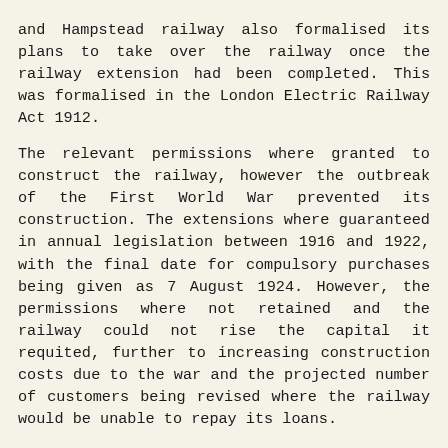and Hampstead railway also formalised its plans to take over the railway once the railway extension had been completed. This was formalised in the London Electric Railway Act 1912.

The relevant permissions where granted to construct the railway, however the outbreak of the First World War prevented its construction. The extensions where guaranteed in annual legislation between 1916 and 1922, with the final date for compulsory purchases being given as 7 August 1924. However, the permissions where not retained and the railway could not rise the capital it requited, further to increasing construction costs due to the war and the projected number of customers being revised where the railway would be unable to repay its loans.

The railway struggled to finance its extension until the government passed the Trade Facilities Act 1921, which guaranteed public works by the treasury underwriting their loans, this was planned to reduce unemployment. After these assurances where given, the Underground Electric Railway Companies of London (UECL) managed to raise the required to construct the extension and the works